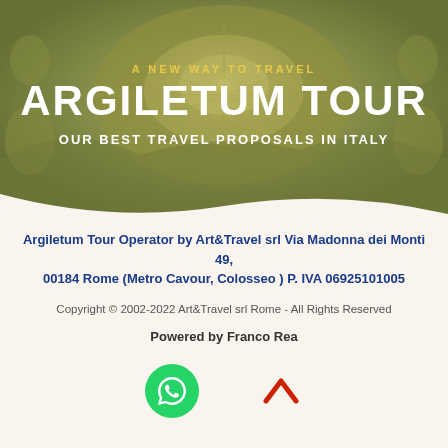[Figure (photo): Hero banner with ornate baroque church ceiling in olive/green tint overlay. Shows decorative dome and architectural details. Contains text overlay with 'A NEW WAY TO TRAVEL', 'ARGILETUM TOUR', and 'OUR BEST TRAVEL PROPOSALS IN ITALY'.]
ARGILETUM TOUR
A NEW WAY TO TRAVEL
OUR BEST TRAVEL PROPOSALS IN ITALY
Argiletum Tour Operator by Art&Travel srl Via Madonna dei Monti 49, 00184 Rome (Metro Cavour, Colosseo ) P. IVA 06925101005
Copyright © 2002-2022 Art&Travel srl Rome - All Rights Reserved
Powered by Franco Rea